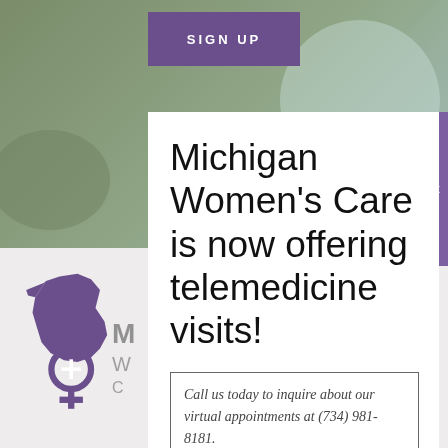[Figure (screenshot): Background image with blurred greenish-teal tones, suggesting an outdoor or nature background]
SIGN UP
Michigan Women's Care is now offering telemedicine visits!
Call us today to inquire about our virtual appointments at (734) 981-8181.
[Figure (logo): Michigan Women's Care logo: purple silhouette of Michigan state map with female gender symbol, and partial text 'Michigan Women's Care']